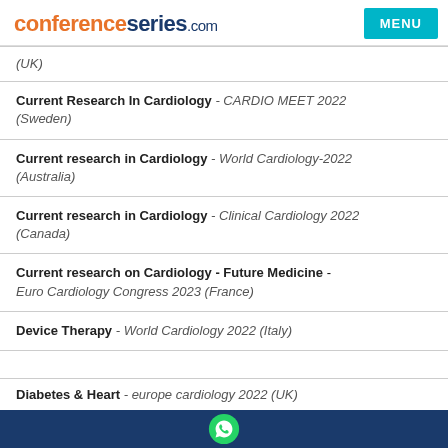conferenceseries.com MENU
(UK)
Current Research In Cardiology - CARDIO MEET 2022 (Sweden)
Current research in Cardiology - World Cardiology-2022 (Australia)
Current research in Cardiology - Clinical Cardiology 2022 (Canada)
Current research on Cardiology - Future Medicine - Euro Cardiology Congress 2023 (France)
Device Therapy - World Cardiology 2022 (Italy)
Diabetes & Heart - europe cardiology 2022 (UK)